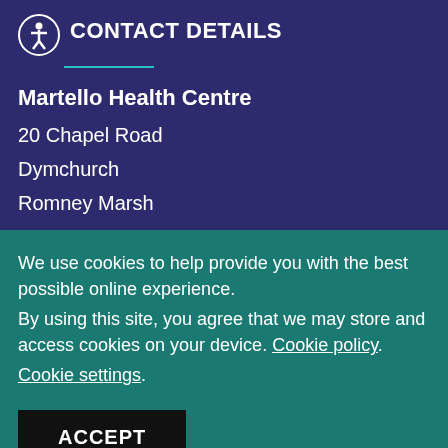CONTACT DETAILS
Martello Health Centre
20 Chapel Road
Dymchurch
Romney Marsh
We use cookies to help provide you with the best possible online experience. By using this site, you agree that we may store and access cookies on your device. Cookie policy. Cookie settings.
ACCEPT